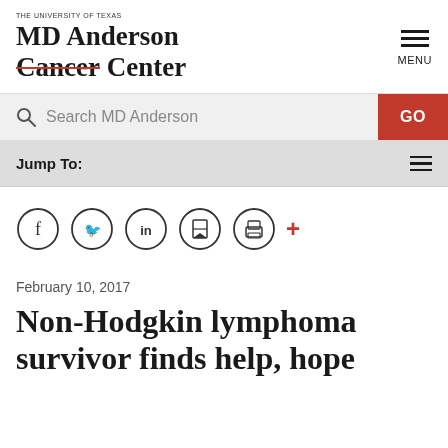[Figure (logo): MD Anderson Cancer Center logo with 'THE UNIVERSITY OF TEXAS' above and 'Cancer' with red strikethrough]
[Figure (infographic): Hamburger menu icon with three horizontal lines and MENU label]
Search MD Anderson
GO
Jump To:
[Figure (infographic): Social sharing icons: Facebook, Twitter, LinkedIn, print, share, plus red plus sign]
February 10, 2017
Non-Hodgkin lymphoma survivor finds help, hope